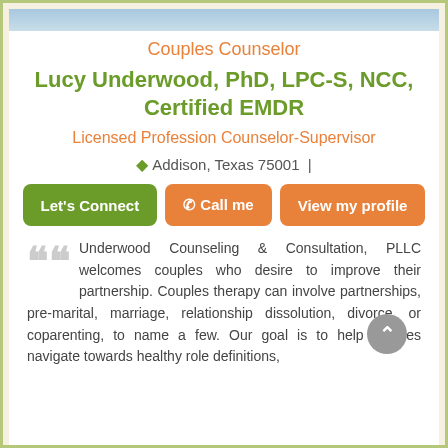[Figure (photo): Partial photo/banner image at top of profile page]
Couples Counselor
Lucy Underwood, PhD, LPC-S, NCC, Certified EMDR
Licensed Profession Counselor-Supervisor
Addison, Texas 75001 |
Let's Connect | Call me | View my profile
Underwood Counseling & Consultation, PLLC welcomes couples who desire to improve their partnership. Couples therapy can involve partnerships, pre-marital, marriage, relationship dissolution, divorce, or coparenting, to name a few. Our goal is to help couples navigate towards healthy role definitions,